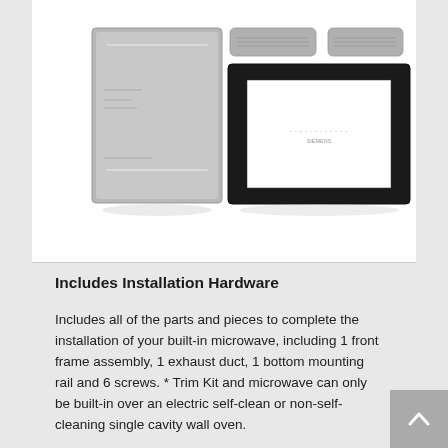[Figure (photo): Product photo showing installation hardware components: a stainless steel trim panel (left), two horizontal bar handles/vents (top center and top right), and a black front frame assembly with white interior opening (right).]
Includes Installation Hardware
Includes all of the parts and pieces to complete the installation of your built-in microwave, including 1 front frame assembly, 1 exhaust duct, 1 bottom mounting rail and 6 screws. * Trim Kit and microwave can only be built-in over an electric self-clean or non-self-cleaning single cavity wall oven.